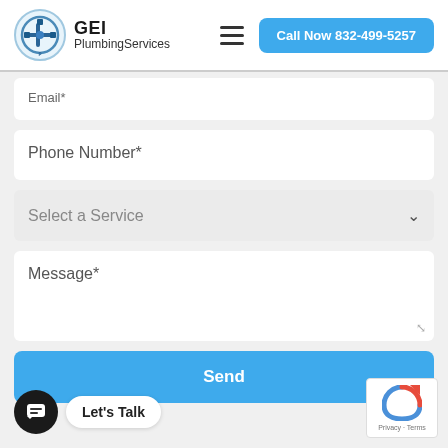[Figure (logo): GEI PlumbingServices logo with circular wrench/pipe icon]
GEI PlumbingServices
[Figure (other): Hamburger menu icon (three horizontal lines)]
Call Now 832-499-5257
Email*
Phone Number*
Select a Service
Message*
Send
Let's Talk
Privacy · Terms